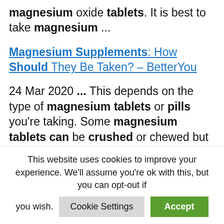magnesium oxide tablets. It is best to take magnesium ...
Magnesium Supplements: How Should They Be Taken? – BetterYou
24 Mar 2020 ... This depends on the type of magnesium tablets or pills you're taking. Some magnesium tablets can be crushed or chewed but this is not common.
Crushing problems : Nursing2021
This website uses cookies to improve your experience. We'll assume you're ok with this, but you can opt-out if you wish.